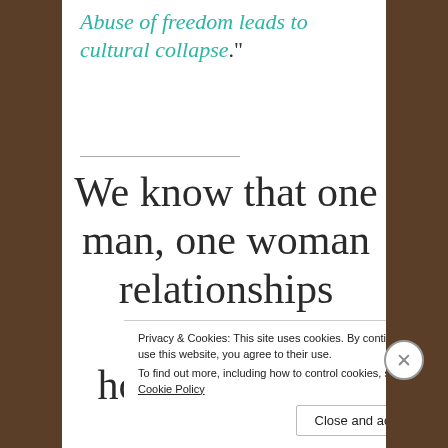Abuse of freedom leads to cultural collapse."
We know that one man, one woman relationships often fail; however, many produce
Privacy & Cookies: This site uses cookies. By continuing to use this website, you agree to their use. To find out more, including how to control cookies, see here: Cookie Policy
Close and accept